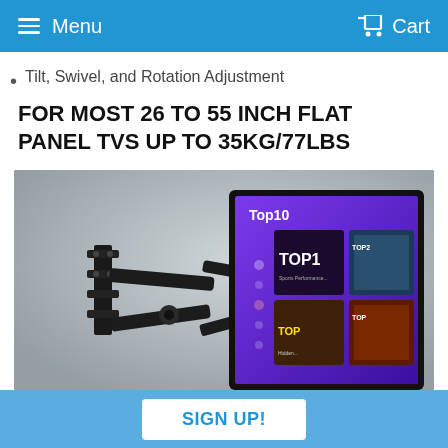Menu  Cart
Tilt, Swivel, and Rotation Adjustment
FOR MOST 26 TO 55 INCH FLAT PANEL TVS UP TO 35KG/77LBS
[Figure (photo): TV wall mount bracket holding a flat panel TV displaying a 'Top10' streaming interface with colorful thumbnails including TOP1 and other content tiles. The mount arm extends from a wall plate on the left side.]
SIGN UP!